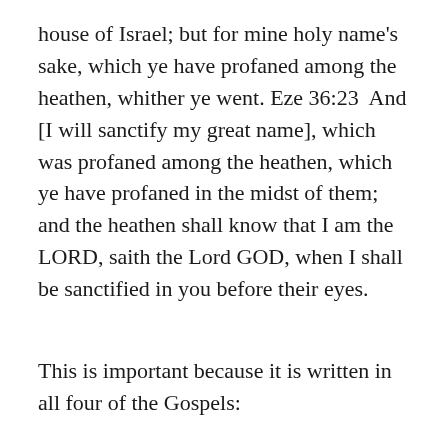house of Israel; but for mine holy name's sake, which ye have profaned among the heathen, whither ye went. Eze 36:23  And [I will sanctify my great name], which was profaned among the heathen, which ye have profaned in the midst of them; and the heathen shall know that I am the LORD, saith the Lord GOD, when I shall be sanctified in you before their eyes.
This is important because it is written in all four of the Gospels:
Mat 24:9  Then shall they deliver you up to be afflicted, and shall kill you: and ye shall be hated of all nations for my name's sake.
Mar 13:13  And ye shall be hated of all men for my name's sake: but he that shall endure unto the end, the